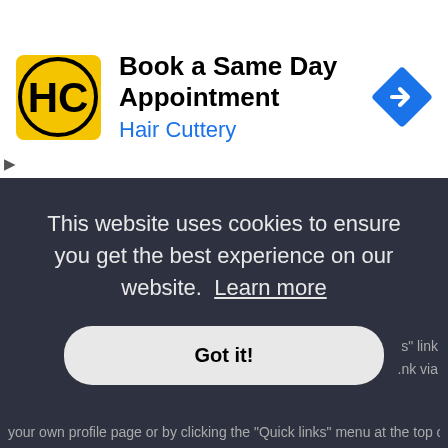[Figure (screenshot): Hair Cuttery ad banner with logo, text 'Book a Same Day Appointment / Hair Cuttery', and blue diamond arrow icon]
d search.
⊙ Top
Why does my search return a blank page!?
Your search returned too many results for the webserver to handle. Use "Advanced search" and be more specific in the terms used and forums that are to be searched.
⊙ Top
This website uses cookies to ensure you get the best experience on our website. Learn more
Got it!
s" link
.nk via
your own profile page or by clicking the "Quick links" menu at the top of the